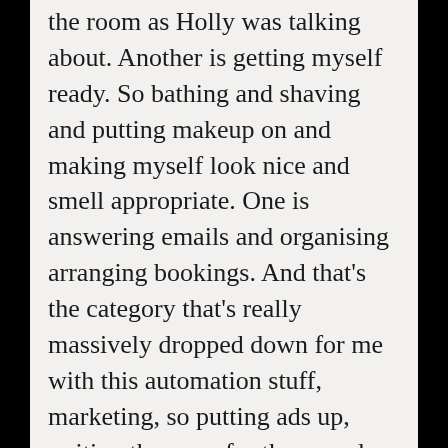the room as Holly was talking about. Another is getting myself ready. So bathing and shaving and putting makeup on and making myself look nice and smell appropriate. One is answering emails and organising arranging bookings. And that's the category that's really massively dropped down for me with this automation stuff, marketing, so putting ads up, writing the copy for them, and deciding what photos are going to go up, all that sort of stuff. And then the other thing that I do that Holly doesn't, is create my own porn. So I also include that, creating the the content. So there's filming or taking photographs, then there's the editing, then there's the uploading, then there's the